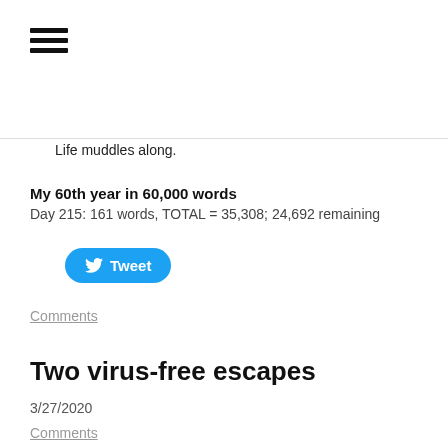[Figure (other): Hamburger menu icon with three horizontal black bars]
Life muddles along.
My 60th year in 60,000 words
Day 215: 161 words, TOTAL = 35,308; 24,692 remaining
[Figure (other): Twitter Tweet button (blue rounded button with bird icon and 'Tweet' text)]
Comments
Two virus-free escapes
3/27/2020
Comments